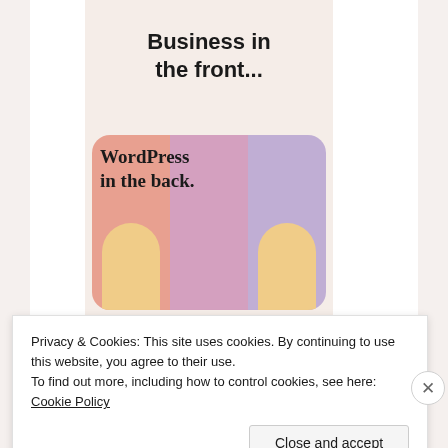[Figure (illustration): WordPress promotional card. Top text reads 'Business in the front...' in bold. Below is a rounded rectangle card with pastel pink, mauve, and lavender vertical stripes, two peach-colored arch shapes at the bottom, and text reading 'WordPress in the back.' in bold serif font.]
Privacy & Cookies: This site uses cookies. By continuing to use this website, you agree to their use.
To find out more, including how to control cookies, see here: Cookie Policy
Close and accept